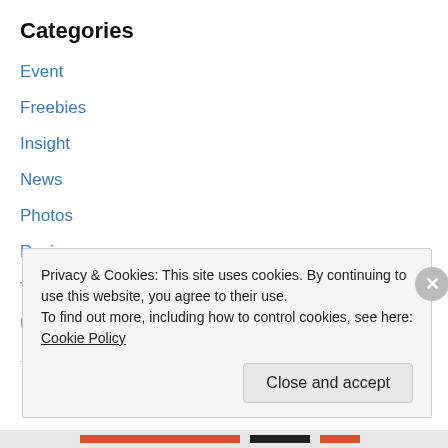Categories
Event
Freebies
Insight
News
Photos
Review
Tips
Uncategorized
Privacy & Cookies: This site uses cookies. By continuing to use this website, you agree to their use.
To find out more, including how to control cookies, see here: Cookie Policy
Close and accept